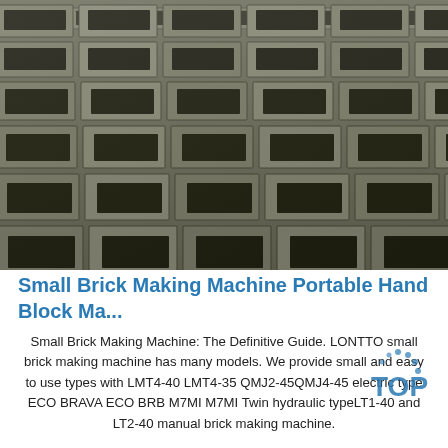[Figure (photo): Aerial/perspective view of rows of grey concrete hollow blocks/bricks laid out flat on a surface, showing rectangular cavities in a grid pattern.]
Small Brick Making Machine Portable Hand Block Ma...
Small Brick Making Machine: The Definitive Guide. LONTTO small brick making machine has many models. We provide small and easy to use types with LMT4-40 LMT4-35 QMJ2-45QMJ4-45 electric type ECO BRAVA ECO BRB M7MI M7MI Twin hydraulic typeLT1-40 and LT2-40 manual brick making machine.